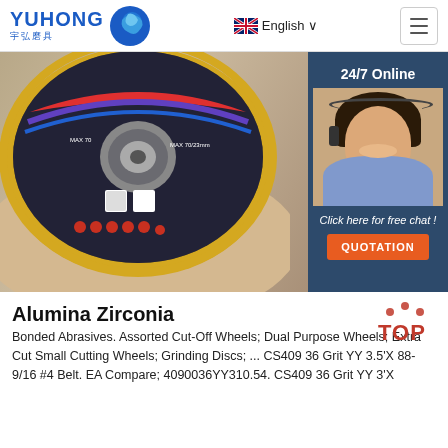YUHONG 宇弘磨具 | English | Menu
[Figure (photo): Product photo of an abrasive cut-off disc held in hand, dark surface with yellow edge stripe and safety icons. Sidebar shows a customer service agent with headset, '24/7 Online' text, 'Click here for free chat!' text, and orange QUOTATION button.]
Alumina Zirconia
Bonded Abrasives. Assorted Cut-Off Wheels; Dual Purpose Wheels; Extra Cut Small Cutting Wheels; Grinding Discs; ... CS409 36 Grit YY 3.5'X 88-9/16 #4 Belt. EA Compare; 4090036YY310.54. CS409 36 Grit YY 3'X